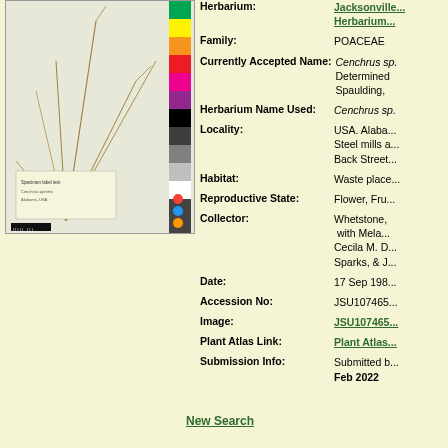[Figure (photo): Herbarium specimen photograph of a grass plant (Cenchrus sp.) mounted on white paper with color calibration bar and ruler]
Herbarium:
Jacksonville... Herbarium...
Family: POACEAE
Currently Accepted Name: Cenchrus sp. Determined by Spaulding,
Herbarium Name Used: Cenchrus sp.
Locality: USA. Alabama. Steel mills a... Back Street...
Habitat: Waste place...
Reproductive State: Flower, Fru...
Collector: Whetstone, with Mela... Cecila M. D... Sparks, & J...
Date: 17 Sep 198...
Accession No: JSU107465...
Image: JSU107465...
Plant Atlas Link: Plant Atlas...
Submission Info: Submitted b... Feb 2022
New Search